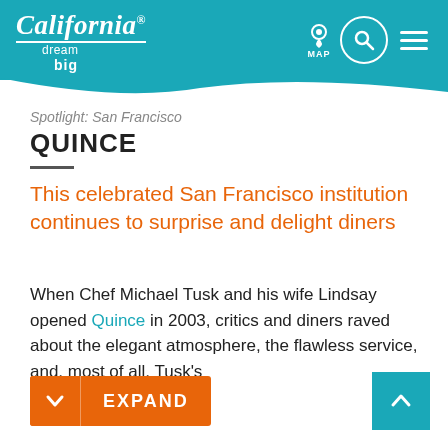California dream big — MAP [navigation icons]
Spotlight: San Francisco
QUINCE
This celebrated San Francisco institution continues to surprise and delight diners
When Chef Michael Tusk and his wife Lindsay opened Quince in 2003, critics and diners raved about the elegant atmosphere, the flawless service, and, most of all, Tusk's
EXPAND